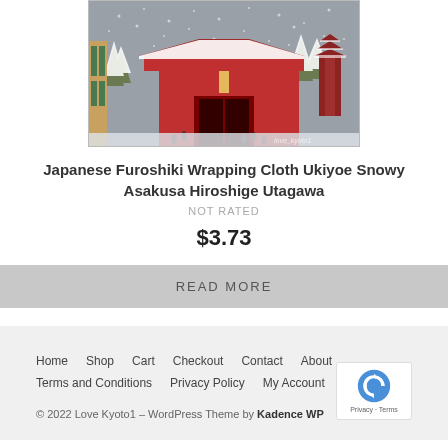[Figure (photo): Japanese woodblock print Ukiyoe painting showing snowy Asakusa scene with red temple buildings, snow-covered pine trees, pagoda in background, people walking, gray snowy sky. Watermark 'love_kyoto1' in bottom right.]
Japanese Furoshiki Wrapping Cloth Ukiyoe Snowy Asakusa Hiroshige Utagawa
NOT RATED
$3.73
READ MORE
Home  Shop  Cart  Checkout  Contact  About  Terms and Conditions  Privacy Policy  My Account
© 2022 Love Kyoto1 – WordPress Theme by Kadence WP